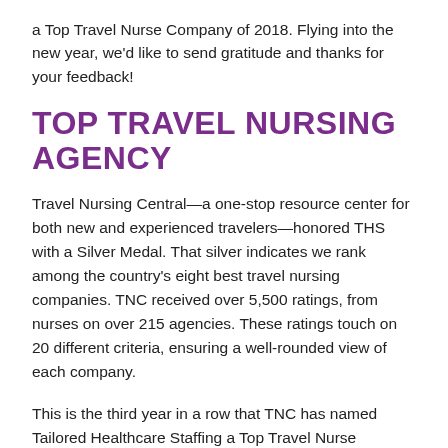a Top Travel Nurse Company of 2018. Flying into the new year, we'd like to send gratitude and thanks for your feedback!
TOP TRAVEL NURSING AGENCY
Travel Nursing Central—a one-stop resource center for both new and experienced travelers—honored THS with a Silver Medal. That silver indicates we rank among the country's eight best travel nursing companies. TNC received over 5,500 ratings, from nurses on over 215 agencies. These ratings touch on 20 different criteria, ensuring a well-rounded view of each company.
This is the third year in a row that TNC has named Tailored Healthcare Staffing a Top Travel Nurse Company. We are incredibly thankful for the continued inclusion on the list, and even more so for the outstanding ratings left on the